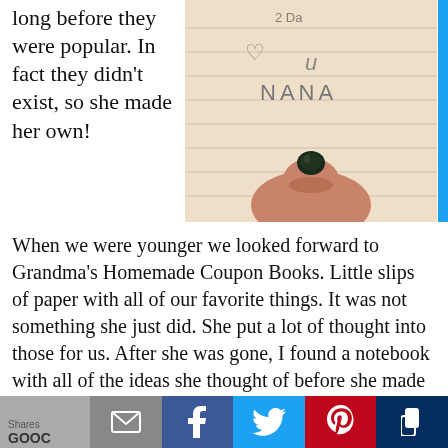long before they were popular. In fact they didn't exist, so she made her own!
[Figure (photo): A handwritten note on lined paper reading '♡ U NANA' with a hand holding the paper, showing dark painted fingernail.]
When we were younger we looked forward to Grandma's Homemade Coupon Books. Little slips of paper with all of our favorite things. It was not something she just did. She put a lot of thought into those for us. After she was gone, I found a notebook with all of the ideas she thought of before she made the books. Among my favorite was "Good for one game of Canasta" (I loved playing cards and dominoes with my grand...
Shares  [email] [facebook] [twitter] [pinterest] [flipboard]